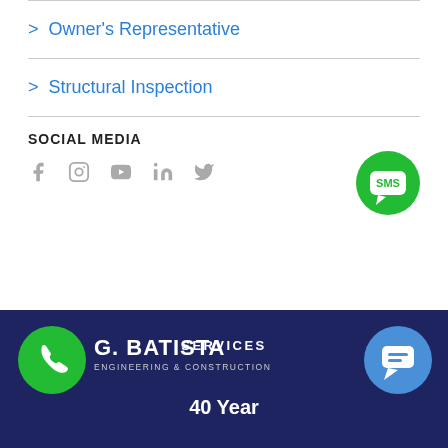> Owner's Representative
> Structural Inspection
SOCIAL MEDIA
[Figure (infographic): Social media icons: Facebook, Instagram, YouTube, LinkedIn, Twitter, and SMS bubble]
[Figure (logo): G. Batista Engineering & Construction logo with phone icon]
SERVICES
40 Year